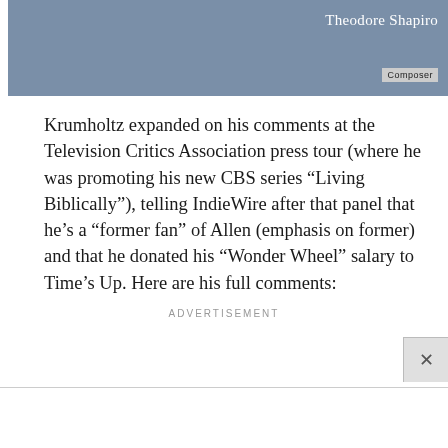[Figure (photo): Video thumbnail showing a person, with 'Theodore Shapiro' text overlay and 'Composer' badge in the upper right corner]
Krumholtz expanded on his comments at the Television Critics Association press tour (where he was promoting his new CBS series “Living Biblically”), telling IndieWire after that panel that he’s a “former fan” of Allen (emphasis on former) and that he donated his “Wonder Wheel” salary to Time’s Up. Here are his full comments:
ADVERTISEMENT